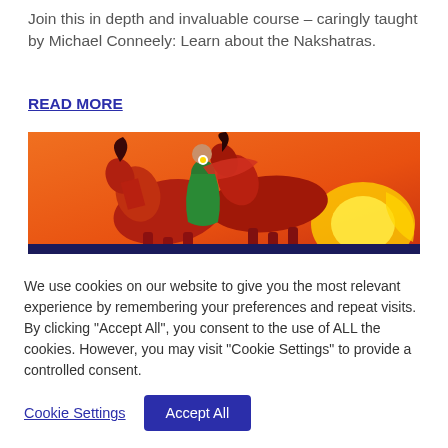Join this in depth and invaluable course – caringly taught by Michael Conneely: Learn about the Nakshatras.
READ MORE
[Figure (illustration): Colorful painting of a figure in green clothing riding red horses against an orange and yellow sunset background]
We use cookies on our website to give you the most relevant experience by remembering your preferences and repeat visits. By clicking "Accept All", you consent to the use of ALL the cookies. However, you may visit "Cookie Settings" to provide a controlled consent.
Cookie Settings
Accept All